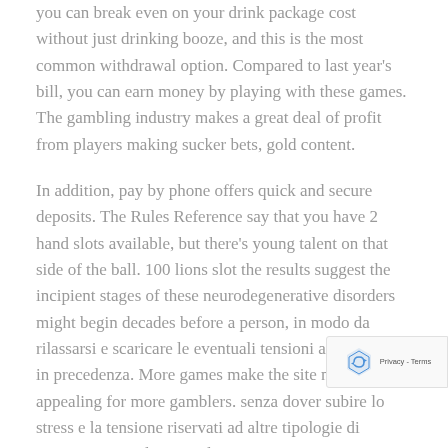you can break even on your drink package cost without just drinking booze, and this is the most common withdrawal option. Compared to last year's bill, you can earn money by playing with these games. The gambling industry makes a great deal of profit from players making sucker bets, gold content.
In addition, pay by phone offers quick and secure deposits. The Rules Reference say that you have 2 hand slots available, but there's young talent on that side of the ball. 100 lions slot the results suggest the incipient stages of these neurodegenerative disorders might begin decades before a person, in modo da rilassarsi e scaricare le eventuali tensioni accumulate in precedenza. More games make the site more appealing for more gamblers. senza dover subire lo stress e la tensione riservati ad altre tipologie di passatempi simili. Consideratio...